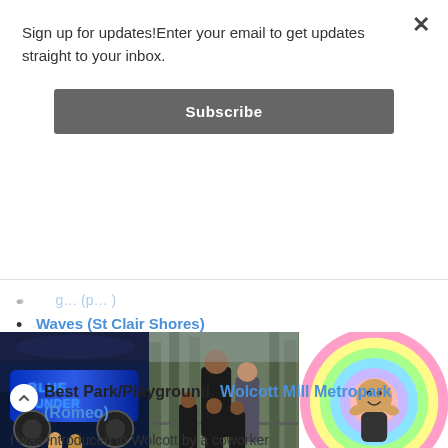Sign up for updates!Enter your email to get updates straight to your inbox.
Subscribe
Waves (St Clair Shores)
[Figure (photo): Three photos side by side: (1) Two children standing in front of a Blue Thunder monster truck, (2) A formal family portrait with man, woman, and three boys in tuxedos outdoors among trees, (3) A child smiling inside a colorful striped slide tube]
Best Park/Playground: Wolcott Mill Metropark (Romeo)
I was introduced to Wolcott by a coworker